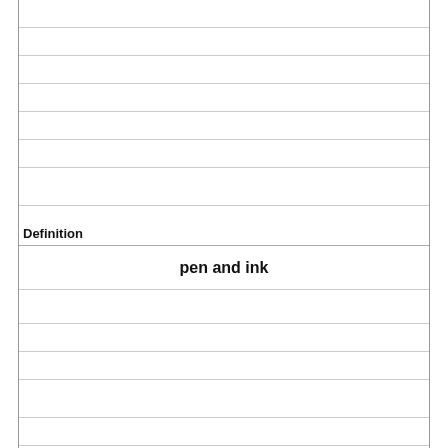| Definition | Term |
| --- | --- |
| pen and ink |  |
|  | naturalistic |